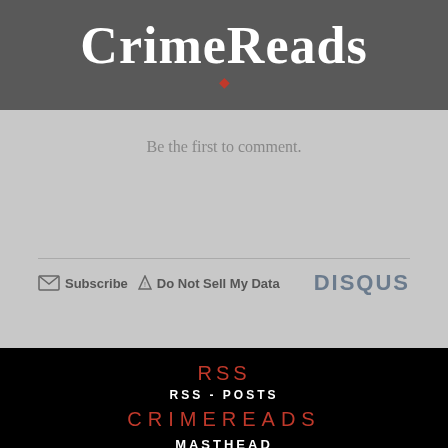CrimeReads
Be the first to comment.
[Figure (screenshot): Disqus comment widget footer bar with Subscribe envelope icon, Do Not Sell My Data triangle icon, and DISQUS logo]
RSS
RSS - POSTS
CRIMEREADS
MASTHEAD
ABOUT